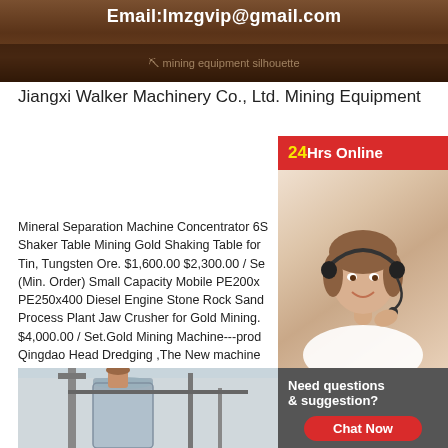[Figure (photo): Top banner image showing mining equipment site with Email:lmzgvip@gmail.com overlaid in white text on dark brownish background]
Jiangxi Walker Machinery Co., Ltd. Mining Equipment
[Figure (photo): 24Hrs Online chat widget with a female customer service agent wearing a headset, red banner saying '24Hrs Online', dark grey panel with 'Need questions & suggestion?' and red 'Chat Now' button]
Mineral Separation Machine Concentrator 6S Shaker Table Mining Gold Shaking Table for Tin, Tungsten Ore. $1,600.00 $2,300.00 / Se (Min. Order) Small Capacity Mobile PE200x PE250x400 Diesel Engine Stone Rock Sand Process Plant Jaw Crusher for Gold Mining. $4,000.00 / Set.Gold Mining Machine---prod Qingdao Head Dredging ,The New machine both. Easily handled and set up with only on people, the Real Mining Gold Sluice Box can run 150 200 buckets of TOTALLY unclassifie an hour, and still maintain extremely high recovery rates, even on very fine gold, remember, the only way to. get more gold is to MOVE MORE DIRT.
[Figure (photo): Bottom image showing industrial mining or construction equipment, silo or tank structure]